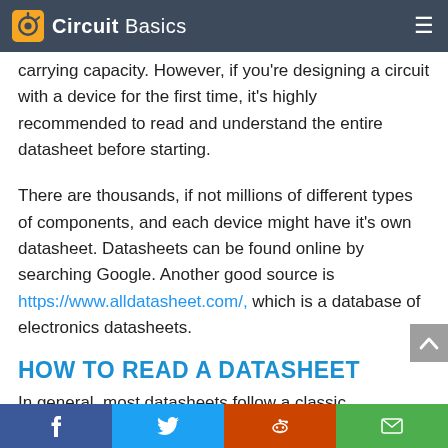Circuit Basics
carrying capacity. However, if you're designing a circuit with a device for the first time, it's highly recommended to read and understand the entire datasheet before starting.
There are thousands, if not millions of different types of components, and each device might have it's own datasheet. Datasheets can be found online by searching Google. Another good source is https://www.alldatasheet.com/, which is a database of electronics datasheets.
HOW TO READ A DATASHEET
In general, most datasheets follow a classic
f  t  reddit  email